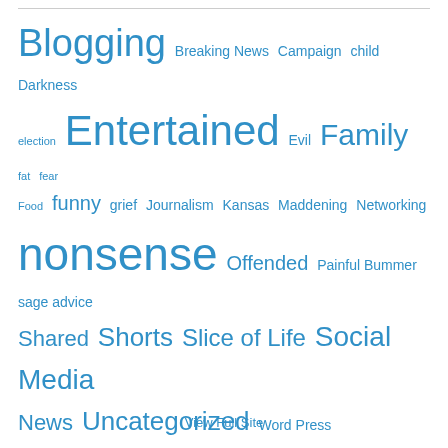[Figure (infographic): Tag cloud with blog category words in various sizes, all in blue. Words include: Blogging (large), Breaking News, Campaign, child, Darkness, election, Entertained (very large), Evil, Family (large), fat, fear, Food, funny (medium), grief, Journalism, Kansas, Maddening, Networking, nonsense (very large), Offended, Painful Bummer, sage advice, Shared (medium), Shorts (large), Slice of Life (large), Social Media (large), News (medium), Uncategorized (large), Word Press, WordPress (large), Writing (medium).]
View Full Site